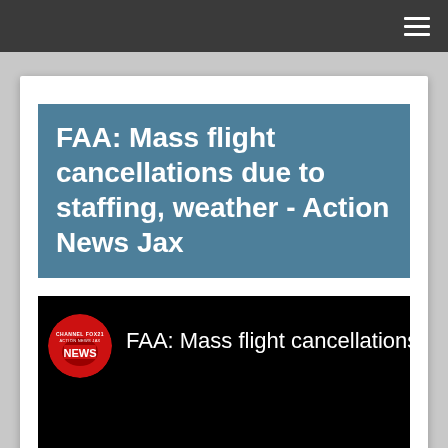≡
FAA: Mass flight cancellations due to staffing, weather - Action News Jax
[Figure (screenshot): Video thumbnail showing Action News Jax logo (red circle with NEWS text) and partial title 'FAA: Mass flight cancellations due to sta' on black background]